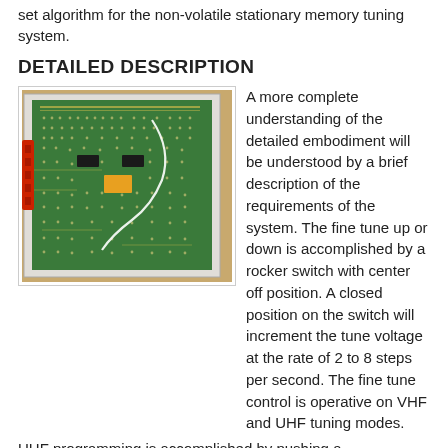set algorithm for the non-volatile stationary memory tuning system.
DETAILED DESCRIPTION
[Figure (photo): Photograph of an open circuit board (PCB) inside a metal enclosure, showing green board with solder points, a white wire, an orange component, and a red connector on the left side. The unit is placed on a wooden surface.]
A more complete understanding of the detailed embodiment will be understood by a brief description of the requirements of the system. The fine tune up or down is accomplished by a rocker switch with center off position. A closed position on the switch will increment the tune voltage at the rate of 2 to 8 steps per second. The fine tune control is operative on VHF and UHF tuning modes.
UHF programming is accomplished by pushing a potentiometer control knob and turning the knob pointer to the desired channel number. When the knob is pushed, a